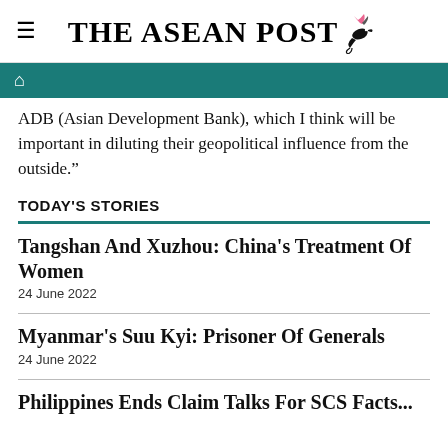THE ASEAN POST
ADB (Asian Development Bank), which I think will be important in diluting their geopolitical influence from the outside."
TODAY'S STORIES
Tangshan And Xuzhou: China's Treatment Of Women
24 June 2022
Myanmar's Suu Kyi: Prisoner Of Generals
24 June 2022
Philippines Ends Claim Talks For SCS Facts...